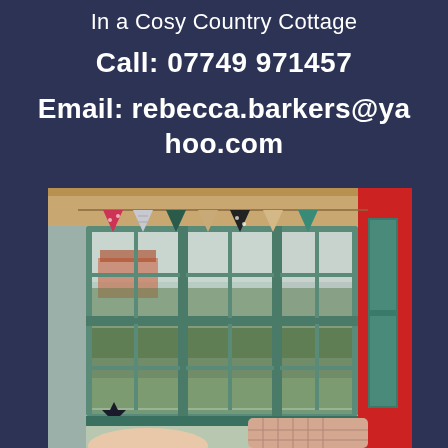In a Cosy Country Cottage
Call: 07749 971457
Email: rebecca.barkers@yahoo.com
[Figure (photo): Interior photo of a cottage window with green frames and decorative bunting flags hanging across it, with a red wall on the right and a plaid cushion in the foreground, trees and a red brick building visible outside.]